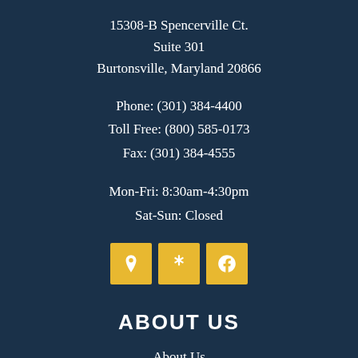15308-B Spencerville Ct.
Suite 301
Burtonsville, Maryland 20866
Phone: (301) 384-4400
Toll Free: (800) 585-0173
Fax: (301) 384-4555
Mon-Fri: 8:30am-4:30pm
Sat-Sun: Closed
[Figure (infographic): Three yellow square icon buttons: map/location pin icon, asterisk/snowflake icon, and Facebook icon]
ABOUT US
About Us